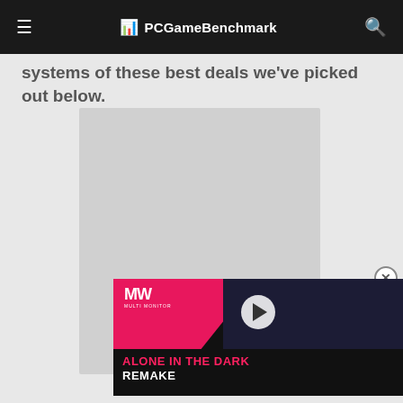PCGameBenchmark
systems of these best deals we've picked out below.
[Figure (other): Gray advertisement placeholder box]
[Figure (screenshot): Video overlay panel for 'Alone in the Dark Remake' with MW logo, play button, pink and dark background, showing game title in pink and white text]